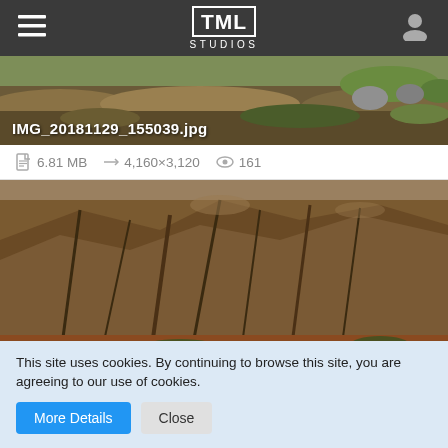TML STUDIOS
[Figure (screenshot): Landscape photo showing hillside terrain with grass and rocks, labeled IMG_20181129_155039.jpg]
6.81 MB  4,160×3,120  161
[Figure (screenshot): Landscape photo showing brown rocky mountain terrain, labeled IMG_20181129_155046.jpg]
This site uses cookies. By continuing to browse this site, you are agreeing to our use of cookies.